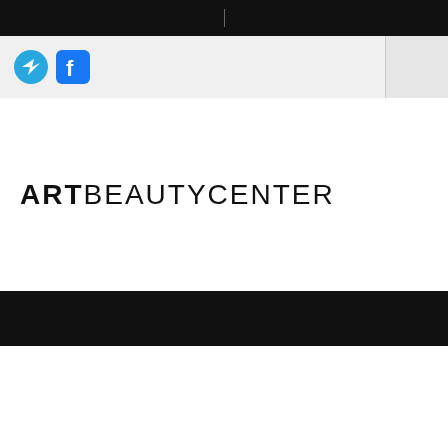|
[Figure (logo): Telegram and Facebook social media icons in the navigation bar]
ARTBEAUTYCENTER